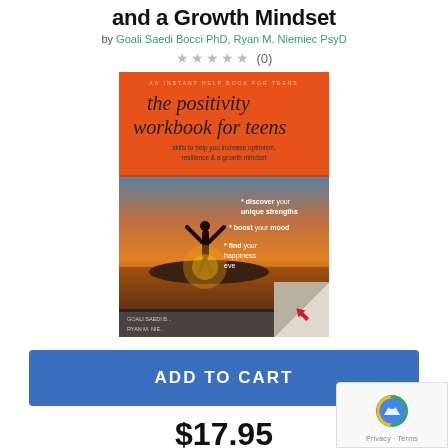and a Growth Mindset
by Goali Saedi Bocci PhD, Ryan M. Niemiec PsyD
★★★★★ (0)
[Figure (photo): Book cover of 'the positivity workbook for teens' by Goali Saedi Bocci and Ryan M. Niemiec, published by Instant Help Books for Teens. Orange cover with silhouette of person with arms raised at sunset. Text: skills to help you increase optimism, resilience & a growth mindset; * discover your unique strengths; * boost your mood; * find your happiness everyday. Corner page-turn effect with red arrow.]
ADD TO CART
$17.95